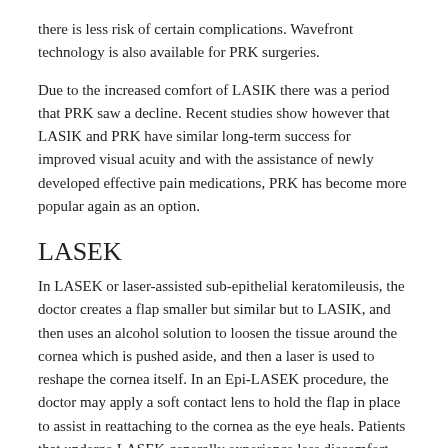there is less risk of certain complications. Wavefront technology is also available for PRK surgeries.
Due to the increased comfort of LASIK there was a period that PRK saw a decline. Recent studies show however that LASIK and PRK have similar long-term success for improved visual acuity and with the assistance of newly developed effective pain medications, PRK has become more popular again as an option.
LASEK
In LASEK or laser-assisted sub-epithelial keratomileusis, the doctor creates a flap smaller but similar but to LASIK, and then uses an alcohol solution to loosen the tissue around the cornea which is pushed aside, and then a laser is used to reshape the cornea itself. In an Epi-LASEK procedure, the doctor may apply a soft contact lens to hold the flap in place to assist in reattaching to the cornea as the eye heals. Patients that undergo LASEK generally experience less discomfort and quicker vision recovery than PRK patients. LASEK may be preferred over LASIK as a safer option for patients with a thin cornea.
Cataract Surgery